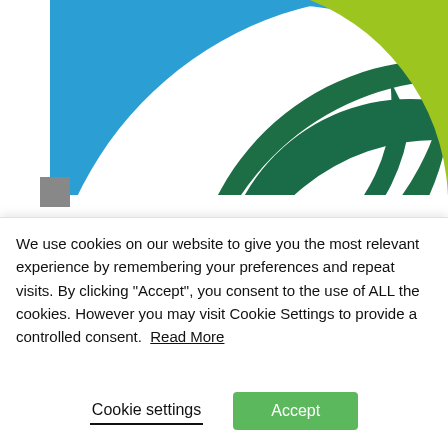[Figure (logo): Cardiff Bus logo made of three overlapping fan/leaf shapes in blue, dark green, and lime green, cropped at top]
CAVC Rider – a new, free bus service for Cardiff and Vale College students and staff
On 5th September Cardiff Bus will launch CAVC Rider – a new bus service for Cardiff and Vale Collegeand staff. Free of charge...
We use cookies on our website to give you the most relevant experience by remembering your preferences and repeat visits. By clicking "Accept", you consent to the use of ALL the cookies. However you may visit Cookie Settings to provide a controlled consent. Read More
Cookie settings
Accept